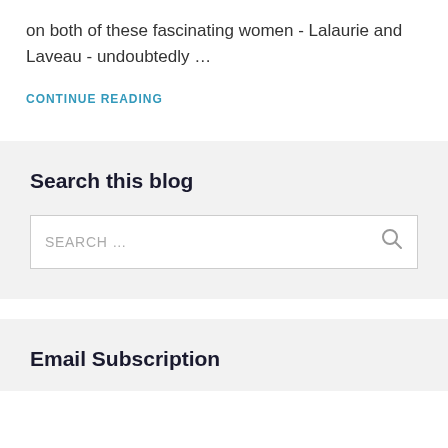on both of these fascinating women - Lalaurie and Laveau - undoubtedly …
CONTINUE READING
Search this blog
SEARCH …
Email Subscription